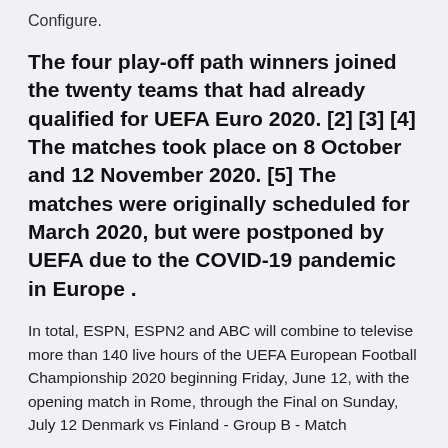Configure.
The four play-off path winners joined the twenty teams that had already qualified for UEFA Euro 2020. [2] [3] [4] The matches took place on 8 October and 12 November 2020. [5] The matches were originally scheduled for March 2020, but were postponed by UEFA due to the COVID-19 pandemic in Europe .
In total, ESPN, ESPN2 and ABC will combine to televise more than 140 live hours of the UEFA European Football Championship 2020 beginning Friday, June 12, with the opening match in Rome, through the Final on Sunday, July 12 Denmark vs Finland - Group B - Match